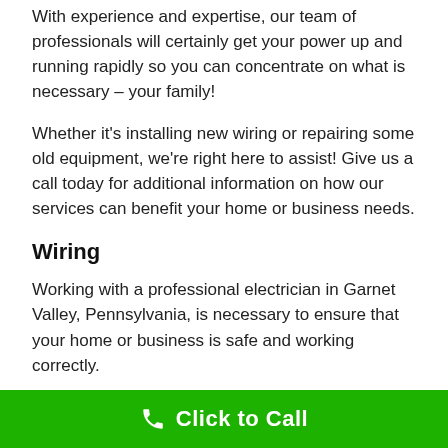With experience and expertise, our team of professionals will certainly get your power up and running rapidly so you can concentrate on what is necessary – your family!
Whether it's installing new wiring or repairing some old equipment, we're right here to assist! Give us a call today for additional information on how our services can benefit your home or business needs.
Wiring
Working with a professional electrician in Garnet Valley, Pennsylvania, is necessary to ensure that your home or business is safe and working correctly.
Our company offers wiring services for residential houses and commercial buildings. We can install new wiring in an existing building or upgrade the electrical service.
Click to Call